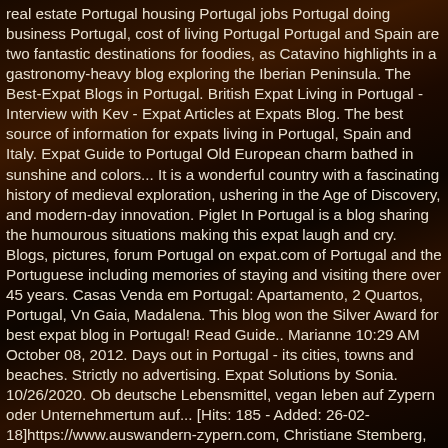real estate Portugal housing Portugal jobs Portugal doing business Portugal, cost of living Portugal Portugal and Spain are two fantastic destinations for foodies, as Catavino highlights in a gastronomy-heavy blog exploring the Iberian Peninsula. The Best-Expat Blogs in Portugal. British Expat Living in Portugal - Interview with Kev - Expat Articles at Expats Blog. The best source of information for expats living in Portugal, Spain and Italy. Expat Guide to Portugal Old European charm bathed in sunshine and colors... It is a wonderful country with a fascinating history of medieval exploration, ushering in the Age of Discovery, and modern-day innovation. Piglet In Portugal is a blog sharing the humourous situations making this expat laugh and cry. Blogs, pictures, forum Portugal on expat.com of Portugal and the Portuguese including memories of staying and visiting there over 45 years. Casas Venda em Portugal: Apartamento, 2 Quartos, Portugal, Vn Gaia, Madalena. This blog won the Silver Award for best expat blog in Portugal! Read Guide.. Marianne 10:29 AM October 08, 2012. Days out in Portugal - its cities, towns and beaches. Strictly no advertising. Expat Solutions by Sonia. 10/26/2020. Ob deutsche Lebensmittel, vegan leben auf Zypern oder Unternehmertum auf... [Hits: 185 - Added: 26-02-18]https://www.auswandern-zypern.com, Christiane Stemberg, Jahrgang 1965, lebt als freie Journalistin in Zypern. Check out our recent blog posts below! Expat Exchange: Expats in Portugal: Pros and Cons of Living in Portugal Expats in Portugal discuss the pros and cons of living in Portugal. Expat Guide to Portugal Old